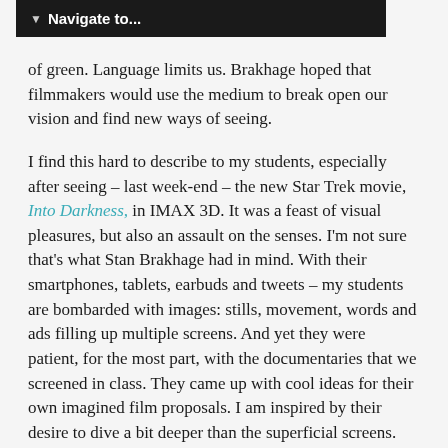▼  Navigate to...
of green. Language limits us. Brakhage hoped that filmmakers would use the medium to break open our vision and find new ways of seeing.
I find this hard to describe to my students, especially after seeing – last week-end – the new Star Trek movie, Into Darkness, in IMAX 3D. It was a feast of visual pleasures, but also an assault on the senses. I'm not sure that's what Stan Brakhage had in mind. With their smartphones, tablets, earbuds and tweets – my students are bombarded with images: stills, movement, words and ads filling up multiple screens. And yet they were patient, for the most part, with the documentaries that we screened in class. They came up with cool ideas for their own imagined film proposals. I am inspired by their desire to dive a bit deeper than the superficial screens.